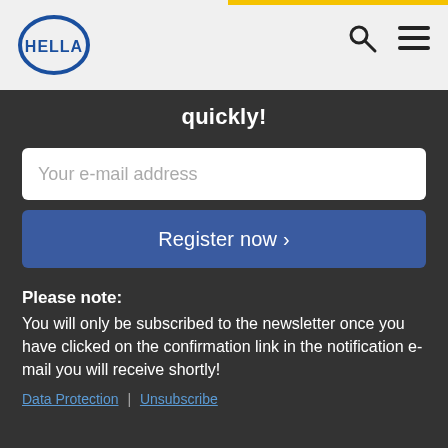[Figure (logo): HELLA logo - oval blue border with HELLA text inside]
quickly!
Your e-mail address
Register now >
Please note:
You will only be subscribed to the newsletter once you have clicked on the confirmation link in the notification e-mail you will receive shortly!
Data Protection | Unsubscribe